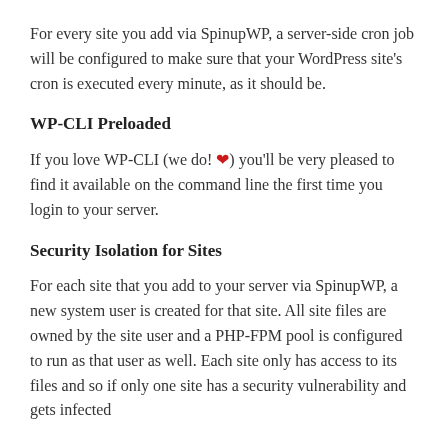For every site you add via SpinupWP, a server-side cron job will be configured to make sure that your WordPress site's cron is executed every minute, as it should be.
WP-CLI Preloaded
If you love WP-CLI (we do! ❤) you'll be very pleased to find it available on the command line the first time you login to your server.
Security Isolation for Sites
For each site that you add to your server via SpinupWP, a new system user is created for that site. All site files are owned by the site user and a PHP-FPM pool is configured to run as that user as well. Each site only has access to its files and so if only one site has a security vulnerability and gets infected